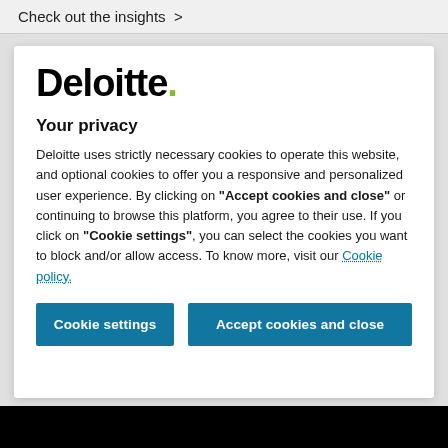Check out the insights >
Deloitte.
Your privacy
Deloitte uses strictly necessary cookies to operate this website, and optional cookies to offer you a responsive and personalized user experience. By clicking on "Accept cookies and close" or continuing to browse this platform, you agree to their use. If you click on "Cookie settings", you can select the cookies you want to block and/or allow access. To know more, visit our Cookie policy.
Cookie settings
Accept cookies and close